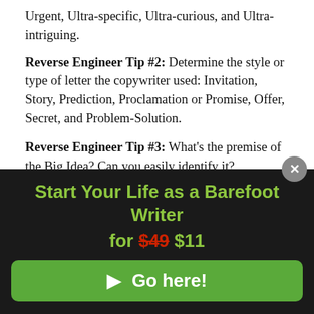Urgent, Ultra-specific, Ultra-curious, and Ultra-intriguing.
Reverse Engineer Tip #2: Determine the style or type of letter the copywriter used: Invitation, Story, Prediction, Proclamation or Promise, Offer, Secret, and Problem-Solution.
Reverse Engineer Tip #3: What's the premise of the Big Idea? Can you easily identify it?
Reverse Engineer Tip #4: Identify where in the lead
Start Your Life as a Barefoot Writer for $49 $11
▶ Go here!